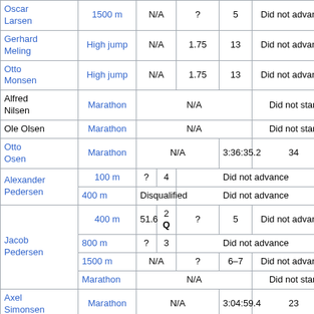| Athlete | Event | Heat | Rank | Final | Rank | Notes |
| --- | --- | --- | --- | --- | --- | --- |
| Oscar Larsen | 1500 m | N/A |  | ? | 5 | Did not advance |
| Gerhard Meling | High jump | N/A |  | 1.75 | 13 | Did not advance |
| Otto Monsen | High jump | N/A |  | 1.75 | 13 | Did not advance |
| Alfred Nilsen | Marathon | N/A |  |  |  | Did not start |
| Ole Olsen | Marathon | N/A |  |  |  | Did not start |
| Otto Osen | Marathon | N/A |  |  | 3:36:35.2 | 34 |
| Alexander Pedersen | 100 m | ? | 4 |  |  | Did not advance |
| Alexander Pedersen | 400 m | Disqualified |  |  |  | Did not advance |
| Jacob Pedersen | 400 m | 51.6 | 2 Q | ? | 5 | Did not advance |
| Jacob Pedersen | 800 m | ? | 3 |  |  | Did not advance |
| Jacob Pedersen | 1500 m | N/A |  | ? | 6–7 | Did not advance |
| Jacob Pedersen | Marathon | N/A |  |  |  | Did not start |
| Axel Simonsen | Marathon | N/A |  |  | 3:04:59.4 | 23 |
| Herman Sotaaen | 100 m | ? | 4 |  |  | Did not advance |
| Herman Sotaaen | 200 m | ? | 3 |  |  | Did not advance |
| Erling Vinne | Triple jump | N/A |  | 14.14 | 4 | Did not advance |
| Johannes Andersen Parolius | Team |  |  |  |  |  |